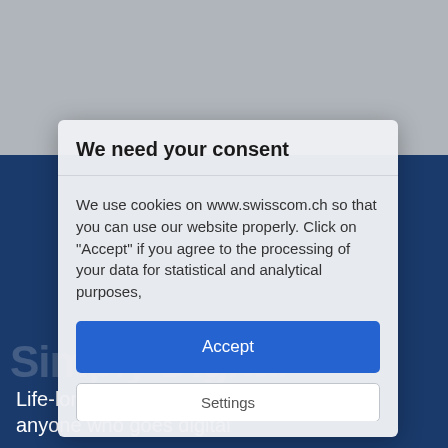[Figure (screenshot): Background screenshot of Swisscom website with dark blue background and a cookie consent modal dialog overlaid on top. Background shows 'Simply Digital' watermark text and people in a photo below.]
We need your consent
We use cookies on www.swisscom.ch so that you can use our website properly. Click on "Accept" if you agree to the processing of your data for statistical and analytical purposes,
Accept
Settings
Life-long benefits for anyone who goes digital